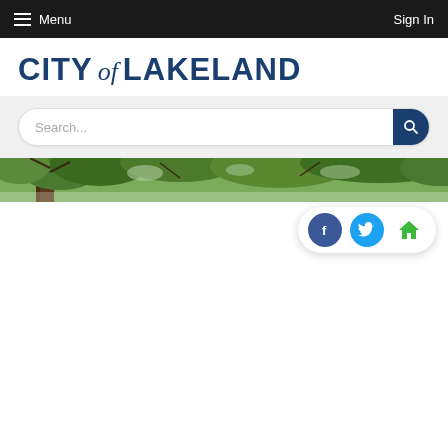Menu  Sign In
CITY of LAKELAND
Search...
[Figure (photo): Tree canopy photo banner showing green trees against sky]
[Figure (infographic): Social media icons: Facebook (blue circle), Twitter (blue circle), Home (green house icon)]
Home › Residents › See Click Fix